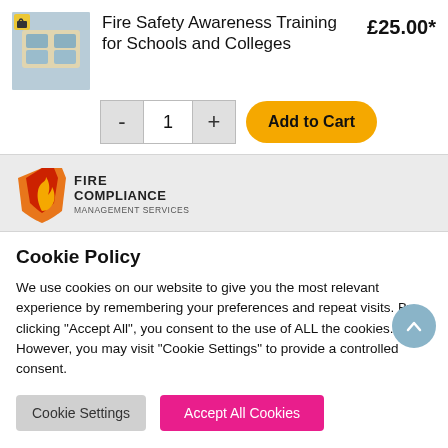Fire Safety Awareness Training for Schools and Colleges
£25.00*
[Figure (screenshot): Product image showing people in a classroom/school setting]
[Figure (logo): Fire Compliance Management Services logo — orange/red flame shield with company name text]
Cookie Policy
We use cookies on our website to give you the most relevant experience by remembering your preferences and repeat visits. By clicking "Accept All", you consent to the use of ALL the cookies. However, you may visit "Cookie Settings" to provide a controlled consent.